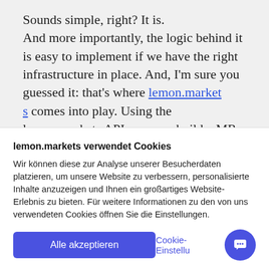Sounds simple, right? It is. And more importantly, the logic behind it is easy to implement if we have the right infrastructure in place. And, I'm sure you guessed it: that's where lemon.markets comes into play. Using the lemon.markets API, you can build a MR strategy on your own with very little effort. Word has it that Jim
lemon.markets verwendet Cookies
Wir können diese zur Analyse unserer Besucherdaten platzieren, um unsere Website zu verbessern, personalisierte Inhalte anzuzeigen und Ihnen ein großartiges Website-Erlebnis zu bieten. Für weitere Informationen zu den von uns verwendeten Cookies öffnen Sie die Einstellungen.
Alle akzeptieren
Cookie-Einstellungen